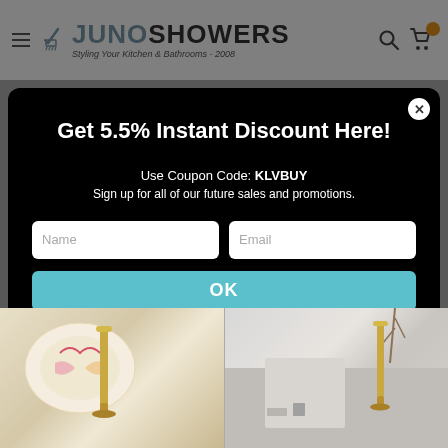[Figure (screenshot): JunoShowers website header with hamburger menu, logo with shower icon, tagline 'Styling Your Kitchen & Bathrooms - 2008', search icon, and shopping cart icon with orange badge]
[Figure (screenshot): Modal popup on dark overlay with title 'Get 5.5% Instant Discount Here!', coupon code KLVBUY, signup text, Name and Email input fields, and an OK button in teal]
[Figure (photo): Bottom portion of website showing two product images: left with decorative bowl and gold faucet, right with modern bathroom faucet and accessories]